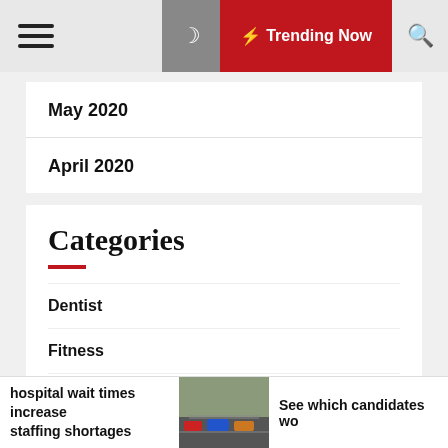Trending Now
May 2020
April 2020
Categories
Dentist
Fitness
Health
hospital wait times increase staffing shortages | See which candidates wo